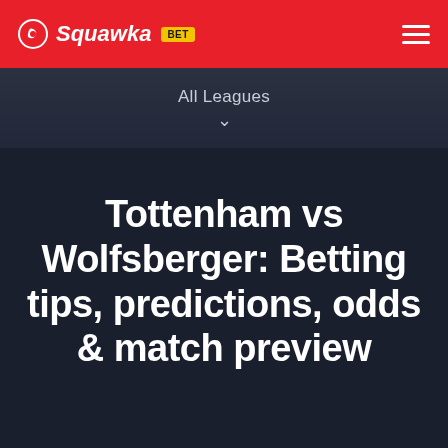Squawka BET
All Leagues
Tottenham vs Wolfsberger: Betting tips, predictions, odds & match preview